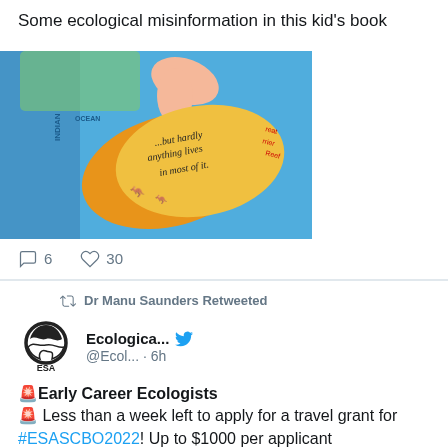Some ecological misinformation in this kid's book
[Figure (photo): Photo of a child's book showing a globe/map with Australia visible and a flap showing text '...but hardly anything lives in most of it.']
6 replies, 30 likes
Dr Manu Saunders Retweeted
Ecologica... @Ecol... · 6h
🚨Early Career Ecologists 🚨 Less than a week left to apply for a travel grant for #ESASCBO2022! Up to $1000 per applicant